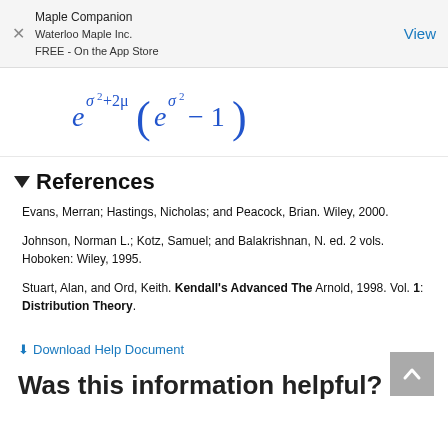Maple Companion
Waterloo Maple Inc.
FREE - On the App Store
View
References
Evans, Merran; Hastings, Nicholas; and Peacock, Brian. Wiley, 2000.
Johnson, Norman L.; Kotz, Samuel; and Balakrishnan, N. ed. 2 vols. Hoboken: Wiley, 1995.
Stuart, Alan, and Ord, Keith. Kendall's Advanced The Arnold, 1998. Vol. 1: Distribution Theory.
Download Help Document
Was this information helpful?